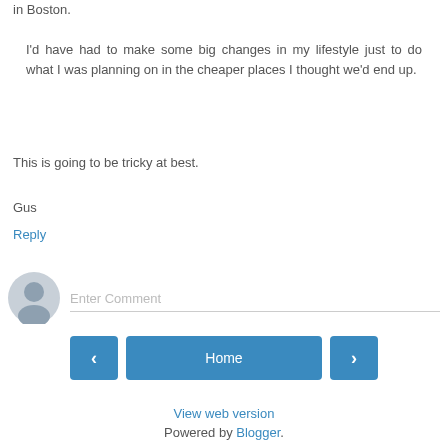in Boston.
I'd have had to make some big changes in my lifestyle just to do what I was planning on in the cheaper places I thought we'd end up.
This is going to be tricky at best.
Gus
Reply
[Figure (other): User avatar icon (grey silhouette) with Enter Comment input field]
[Figure (other): Navigation bar with left arrow button, Home button, and right arrow button]
View web version
Powered by Blogger.